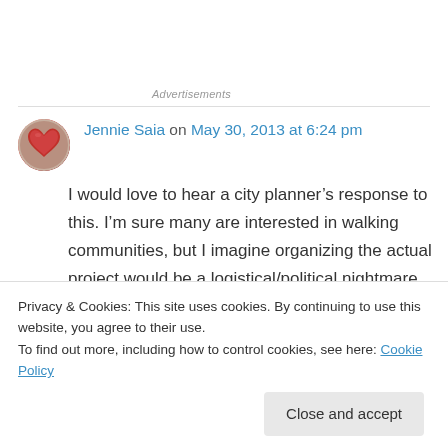Advertisements
Jennie Saia on May 30, 2013 at 6:24 pm
I would love to hear a city planner's response to this. I'm sure many are interested in walking communities, but I imagine organizing the actual project would be a logistical/political nightmare. Still. I would love to live in a walkable.
Privacy & Cookies: This site uses cookies. By continuing to use this website, you agree to their use.
To find out more, including how to control cookies, see here: Cookie Policy